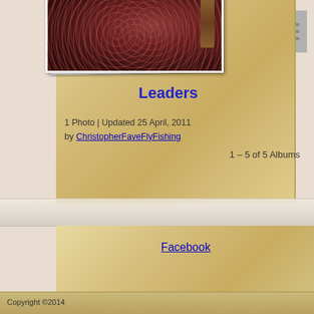[Figure (photo): Close-up photo of fly fishing wire/leader rings being tied, with a tool visible, showing red/copper colored wire rings on dark background]
Leaders
1 Photo | Updated 25 April, 2011 by ChristopherFaveFlyFishing
1 – 5 of 5 Albums
Facebook
Copyright ©2014